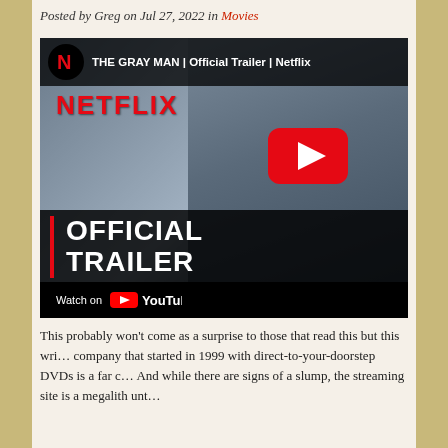Posted by Greg on Jul 27, 2022 in Movies
[Figure (screenshot): YouTube video thumbnail for 'THE GRAY MAN | Official Trailer | Netflix' showing a man with a bloody face, Netflix logo, YouTube play button, 'OFFICIAL TRAILER' text overlay, and 'Watch on YouTube' bar at bottom.]
This probably won't come as a surprise to those that read this but this wri... company that started in 1999 with direct-to-your-doorstep DVDs is a far c... And while there are signs of a slump, the streaming site is a megalith unt...